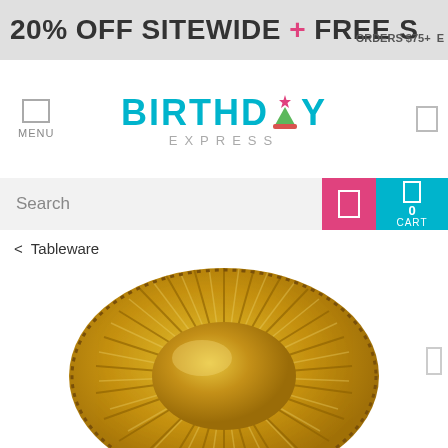20% OFF SITEWIDE + FREE S  ORDERS $75+ E
[Figure (logo): Birthday Express logo with teal text and party hat icon]
Search
0 CART
< Tableware
[Figure (photo): Gold decorative paper plate with ribbed sunburst pattern and dotted rim border, viewed from above]